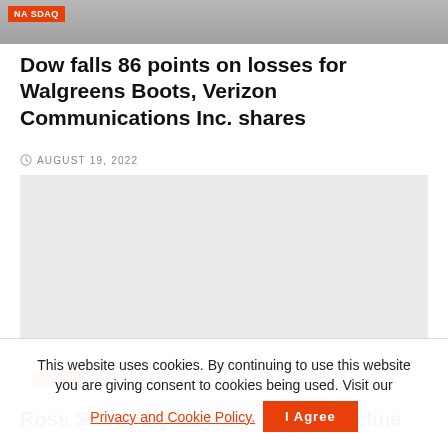[Figure (photo): Top image of people near NASDAQ sign with orange NASDAQ badge overlay]
Dow falls 86 points on losses for Walgreens Boots, Verizon Communications Inc. shares
AUGUST 19, 2022
[Figure (photo): Gray placeholder image with orange NASDAQ badge in lower left]
Ross Stores 2Q Earnings: Sales Decline...
This website uses cookies. By continuing to use this website you are giving consent to cookies being used. Visit our Privacy and Cookie Policy.
I Agree